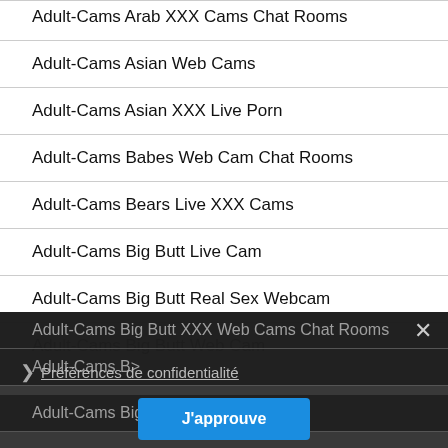Adult-Cams Arab XXX Cams Chat Rooms
Adult-Cams Asian Web Cams
Adult-Cams Asian XXX Live Porn
Adult-Cams Babes Web Cam Chat Rooms
Adult-Cams Bears Live XXX Cams
Adult-Cams Big Butt Live Cam
Adult-Cams Big Butt Real Sex Webcam
Adult-Cams Big Butt Web Cam
Adult-Cams Big Butt XXX Web Cams Chat Rooms
Adult-Cams Big Butt
Adult-Cams Big Tits L...
Préférences de confidentialité
J'approuve